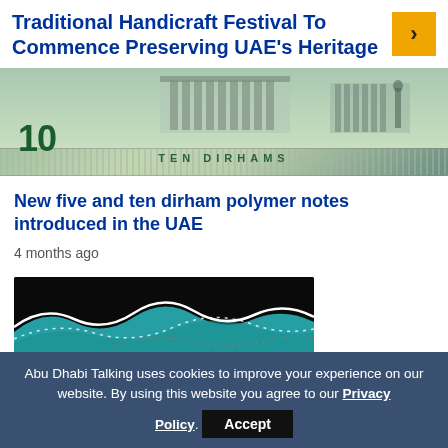Traditional Handicraft Festival To Commence Preserving UAE's Heritage
[Figure (photo): Close-up photograph of a UAE Ten Dirhams polymer banknote showing the number 10, TEN DIRHAMS text, and architectural building engraving]
New five and ten dirham polymer notes introduced in the UAE
4 months ago
[Figure (illustration): Abstract wave illustration with black background, teal and white wave curves and dotted lines]
Abu Dhabi Talking uses cookies to improve your experience on our website. By using this website you agree to our Privacy Policy. Accept